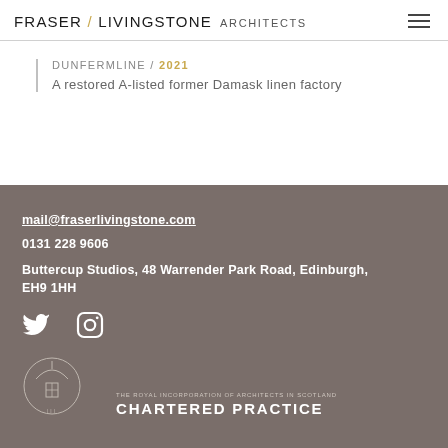FRASER / LIVINGSTONE ARCHITECTS
DUNFERMLINE / 2021
A restored A-listed former Damask linen factory
mail@fraserlivingstone.com
0131 228 9606
Buttercup Studios, 48 Warrender Park Road, Edinburgh, EH9 1HH
[Figure (logo): Twitter and Instagram social media icons]
[Figure (logo): The Royal Incorporation of Architects in Scotland - Chartered Practice badge with RIAS crest]